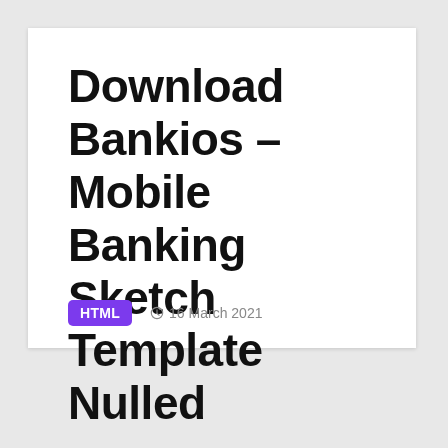Download Bankios – Mobile Banking Sketch Template Nulled
HTML  16 March 2021